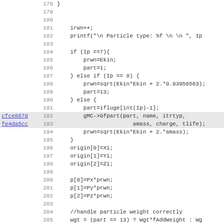Source code listing lines 178-210 showing particle simulation C++ code